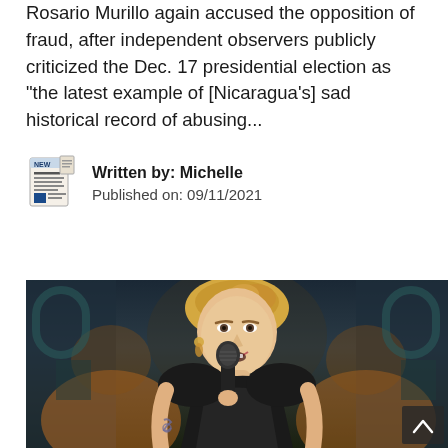Rosario Murillo again accused the opposition of fraud, after independent observers publicly criticized the Dec. 17 presidential election as "the latest example of [Nicaragua's] sad historical record of abusing...
Written by: Michelle
Published on: 09/11/2021
[Figure (photo): A woman in a black dress singing or speaking into a microphone, with blonde hair pulled back, wearing earrings, photographed against a dark decorative background with warm amber/teal tones.]